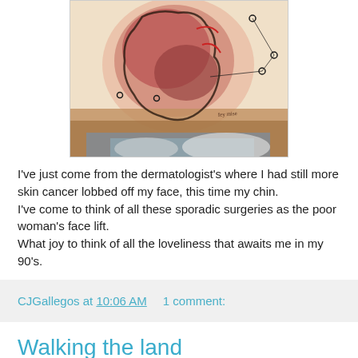[Figure (illustration): Colorful abstract artwork or painting, appearing to show a figure with warm reds, pinks, and earth tones with some blue/teal at the bottom. Has circular dot elements and line work overlaid on a painterly background.]
I've just come from the dermatologist's where I had still more skin cancer lobbed off my face, this time my chin.
I've come to think of all these sporadic surgeries as the poor woman's face lift.
What joy to think of all the loveliness that awaits me in my 90's.
CJGallegos at 10:06 AM   1 comment:
Walking the land